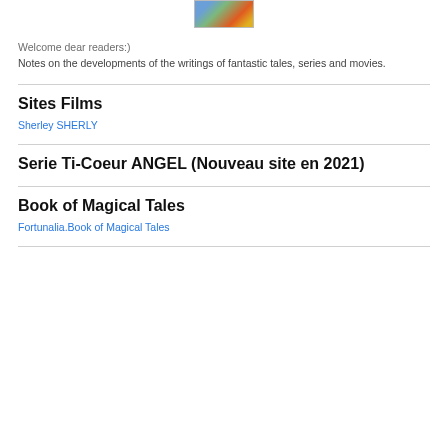[Figure (photo): Small pixelated image of a colorful scene with orange and green tones]
Welcome dear readers:)
Notes on the developments of the writings of fantastic tales, series and movies.
Sites Films
Sherley SHERLY
Serie Ti-Coeur ANGEL (Nouveau site en 2021)
Book of Magical Tales
Fortunalia.Book of Magical Tales